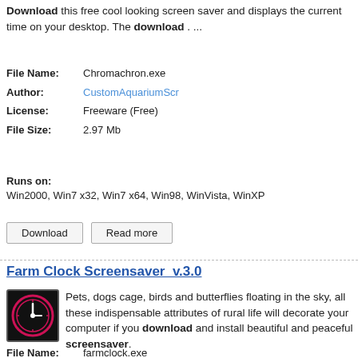Download this free cool looking screen saver and displays the current time on your desktop. The download . ...
| File Name: | Chromachron.exe |
| Author: | CustomAquariumScr |
| License: | Freeware (Free) |
| File Size: | 2.97 Mb |
Runs on:
Win2000, Win7 x32, Win7 x64, Win98, WinVista, WinXP
Download   Read more
Farm Clock Screensaver  v.3.0
Pets, dogs cage, birds and butterflies floating in the sky, all these indispensable attributes of rural life will decorate your computer if you download and install beautiful and peaceful screensaver.
| File Name: | farmclock.exe |
| Author: | FullScreensavers.com |
| License: | Freeware (Free) |
| File Size: | 1.3 Mb |
Runs on:
WinXP, WinVista, WinVista x64, Win7 x32, Win7 x64, Win2000, WinOther, Windows2000, Windows2003, WinServer, Windows Vista, Win98, WinME, WinNT 3.x, WinNT 4.x, Windows Tablet PC Edition 2005, Windows Media Center Edition 2005, Win...